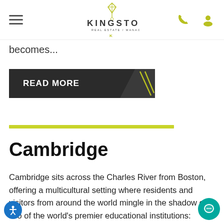Kingston Real Estate / Management — navigation bar with hamburger menu, logo, phone icon, user icon
becomes...
READ MORE
[Figure (illustration): Yellow horizontal divider line]
Cambridge
Cambridge sits across the Charles River from Boston, offering a multicultural setting where residents and visitors from around the world mingle in the shadow of two of the world's premier educational institutions: Harvard University and the Massachusetts Institute of...